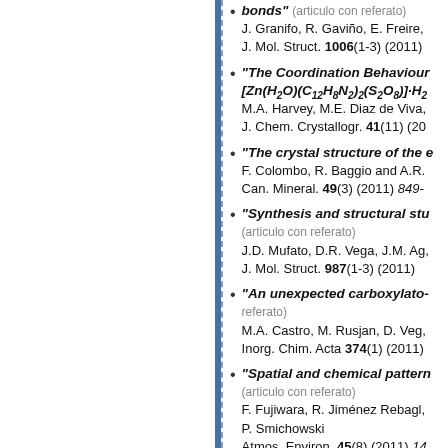"...dexyladeninely. The key π-π bonds" (articulo con referato) J. Granifo, R. Gaviño, E. Freire, J. Mol. Struct. 1006(1-3) (2011)
"The Coordination Behaviour [Zn(H₂O)(C₁₂H₈N₂)₂(S₂O₈)]·H₂..." M.A. Harvey, M.E. Diaz de Viva... J. Chem. Crystallogr. 41(11) (20...
"The crystal structure of the e..." F. Colombo, R. Baggio and A.R... Can. Mineral. 49(3) (2011) 849-
"Synthesis and structural stu..." (articulo con referato) J.D. Mufato, D.R. Vega, J.M. Ag... J. Mol. Struct. 987(1-3) (2011)
"An unexpected carboxylato-..." referato) M.A. Castro, M. Rusjan, D. Veg... Inorg. Chim. Acta 374(1) (2011)
"Spatial and chemical pattern..." (articulo con referato) F. Fujiwara, R. Jiménez Rebagh... P. Smichowski Atmos. Environ. 45(8) (2011) 14...
"Phase transitions in Pb₈O₅(..." E.A. Oliveira, E.N. Silva, A.R. P... and A.P. Ayala J. Raman. Spectrosc. 42(7) (20...